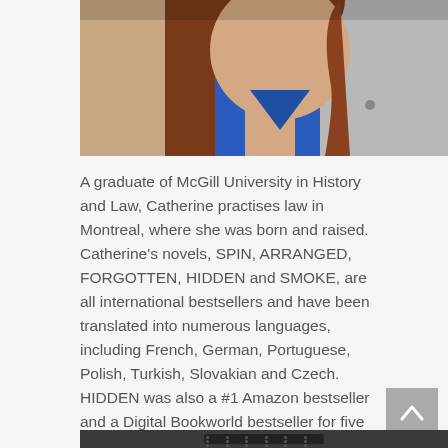[Figure (photo): Close-up photo of a woman with long brown/auburn hair, wearing a blue top and grey cardigan, cropped at top of frame showing neck and upper body.]
A graduate of McGill University in History and Law, Catherine practises law in Montreal, where she was born and raised. Catherine's novels, SPIN, ARRANGED, FORGOTTEN, HIDDEN and SMOKE, are all international bestsellers and have been translated into numerous languages, including French, German, Portuguese, Polish, Turkish, Slovakian and Czech. HIDDEN was also a #1 Amazon bestseller and a Digital Bookworld bestseller for five weeks. SMOKE [obscured] d one of the